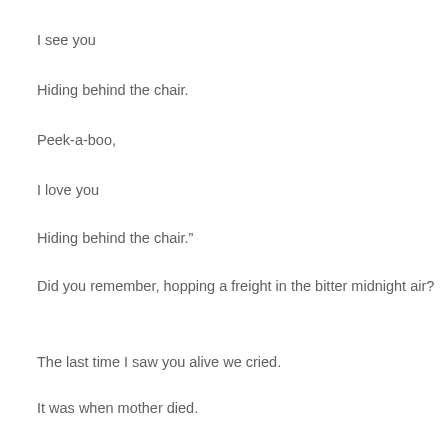I see you
Hiding behind the chair.
Peek-a-boo,
I love you
Hiding behind the chair.”
Did you remember, hopping a freight in the bitter midnight air?
The last time I saw you alive we cried.
It was when mother died.
We never knew how you heard the news.